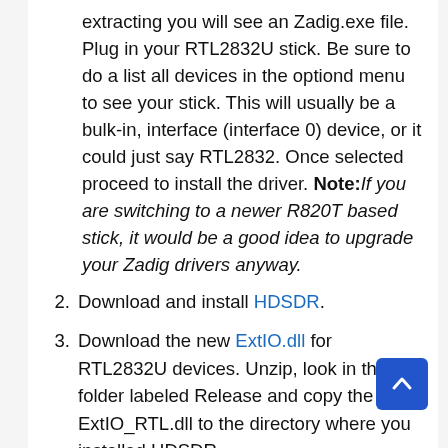extracting you will see an Zadig.exe file. Plug in your RTL2832U stick. Be sure to do a list all devices in the optiond menu to see your stick. This will usually be a bulk-in, interface (interface 0) device, or it could just say RTL2832. Once selected proceed to install the driver. Note: If you are switching to a newer R820T based stick, it would be a good idea to upgrade your Zadig drivers anyway.
2. Download and install HDSDR.
3. Download the new ExtIO.dll for RTL2832U devices. Unzip, look in the folder labeled Release and copy the file ExtIO_RTL.dll to the directory where you installed HDSDR.
4. Start HDSDR. If ExtIO_RTL.dll is the only